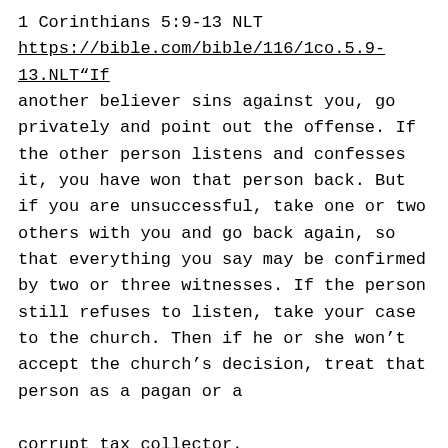1 Corinthians 5:9-13 NLT
https://bible.com/bible/116/1co.5.9-13.NLT“If another believer sins against you, go privately and point out the offense. If the other person listens and confesses it, you have won that person back. But if you are unsuccessful, take one or two others with you and go back again, so that everything you say may be confirmed by two or three witnesses. If the person still refuses to listen, take your case to the church. Then if he or she won’t accept the church’s decision, treat that person as a pagan or a corrupt tax collector.
Matthew 18:15-17 NLT
https://bible.com/bible/116/mat1815-17.NLTYou